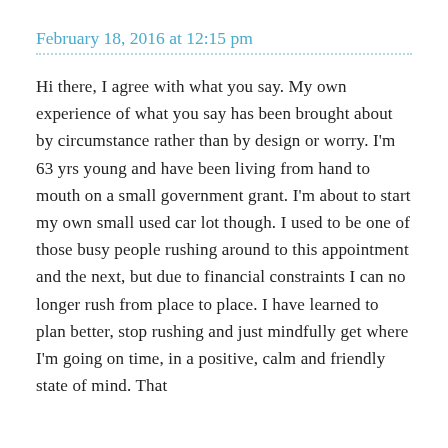February 18, 2016 at 12:15 pm
Hi there, I agree with what you say. My own experience of what you say has been brought about by circumstance rather than by design or worry. I'm 63 yrs young and have been living from hand to mouth on a small government grant. I'm about to start my own small used car lot though. I used to be one of those busy people rushing around to this appointment and the next, but due to financial constraints I can no longer rush from place to place. I have learned to plan better, stop rushing and just mindfully get where I'm going on time, in a positive, calm and friendly state of mind. That